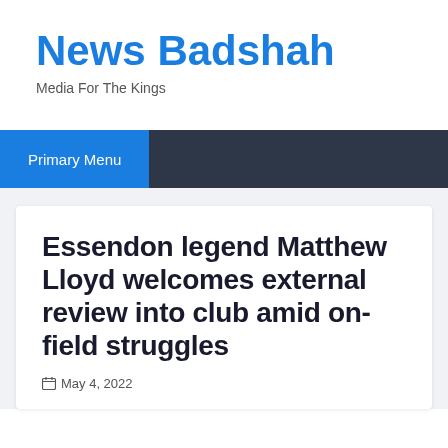News Badshah
Media For The Kings
Primary Menu
Essendon legend Matthew Lloyd welcomes external review into club amid on-field struggles
May 4, 2022